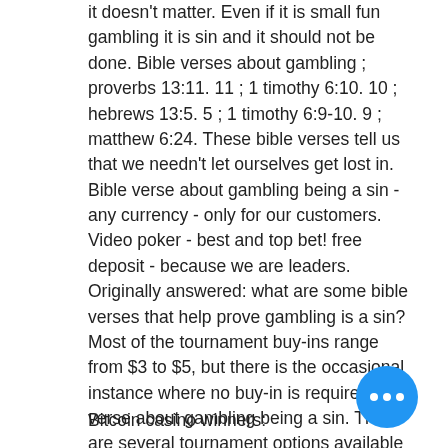it doesn't matter. Even if it is small fun gambling it is sin and it should not be done. Bible verses about gambling ; proverbs 13:11. 11 ; 1 timothy 6:10. 10 ; hebrews 13:5. 5 ; 1 timothy 6:9-10. 9 ; matthew 6:24. These bible verses tell us that we needn't let ourselves get lost in. Bible verse about gambling being a sin - any currency - only for our customers. Video poker - best and top bet! free deposit - because we are leaders. Originally answered: what are some bible verses that help prove gambling is a sin? Most of the tournament buy-ins range from $3 to $5, but there is the occasional instance where no buy-in is required, verse about gambling being a sin. There are several tournament options available at Liberty Slots online casino, with prize pools in excess of $1,000. The Liberty Slots Casino tournaments last days or weeks at a ti...
Bitcoin casino winners: